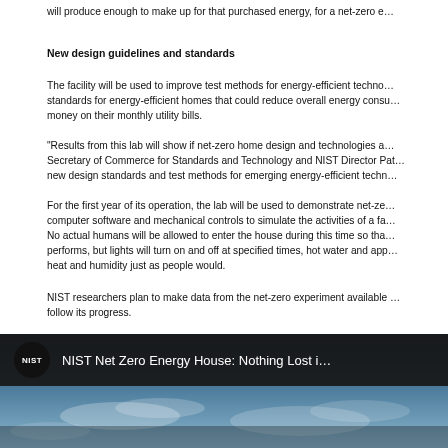will produce enough to make up for that purchased energy, for a net-zero e…
New design guidelines and standards
The facility will be used to improve test methods for energy-efficient techno… standards for energy-efficient homes that could reduce overall energy consu… money on their monthly utility bills.
"Results from this lab will show if net-zero home design and technologies a… Secretary of Commerce for Standards and Technology and NIST Director Pat… new design standards and test methods for emerging energy-efficient techn…
For the first year of its operation, the lab will be used to demonstrate net-ze… computer software and mechanical controls to simulate the activities of a fa… No actual humans will be allowed to enter the house during this time so tha… performs, but lights will turn on and off at specified times, hot water and app… heat and humidity just as people would.
NIST researchers plan to make data from the net-zero experiment available … follow its progress.
[Figure (screenshot): Video thumbnail showing NIST logo in a black circle and text 'NIST Net Zero Energy House: Nothing Lost i…' on a dark background with a sky image below]